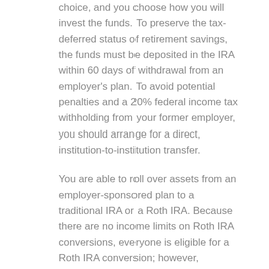choice, and you choose how you will invest the funds. To preserve the tax-deferred status of retirement savings, the funds must be deposited in the IRA within 60 days of withdrawal from an employer's plan. To avoid potential penalties and a 20% federal income tax withholding from your former employer, you should arrange for a direct, institution-to-institution transfer.
You are able to roll over assets from an employer-sponsored plan to a traditional IRA or a Roth IRA. Because there are no income limits on Roth IRA conversions, everyone is eligible for a Roth IRA conversion; however, eligibility to contribute to a Roth IRA phases out at higher modified gross income levels. Keep in mind that ordinary income taxes are owed (in the year of the conversion) on all tax-deferred assets converted to a Roth IRA.
An IRA can be tailored to your particular needs and goals and can incorporate a variety of investment